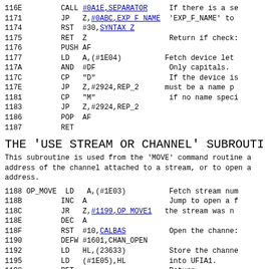116E   CALL #0A1E,SEPARATOR   If there is a se
1171   JP   Z,#0ABC,EXP_F_NAME  'EXP_F_NAME' to
1174   RST  #30,SYNTAX_Z
1175   RET  Z                   Return if check:
1176   PUSH AF
1177   LD   A,(#1E04)          Fetch device let
117A   AND  #DF                Only capitals.
117C   CP   "D"                If the device is
117E   JP   Z,#2924,REP_2      must be a name p
1181   CP   "M"                if no name speci
1183   JP   Z,#2924,REP_2
1186   POP  AF
1187   RET
THE 'USE STREAM OR CHANNEL' SUBROUTIN
This subroutine is used from the 'MOVE' command routine a
address of the channel attached to a stream, or to open a
address.
1188 OP_MOVE  LD   A,(#1E03)          Fetch stream num
118B          INC  A                   Jump to open a f
118C          JR   Z,#1199,OP_MOVE1   the stream was n
118E          DEC  A
118F          RST  #10,CALBAS          Open the channe:
1190          DEFW #1601,CHAN_OPEN
1192          LD   HL,(23633)          Store the channe
1195          LD   (#1E05),HL          into UFIA1.
1198          RET                      Return.
1199 OP_MOVE1  LD   A,(#1E04)          Fetch device: a